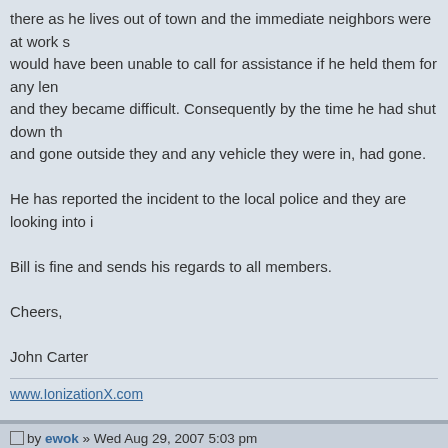there as he lives out of town and the immediate neighbors were at work so he would have been unable to call for assistance if he held them for any length and they became difficult. Consequently by the time he had shut down th and gone outside they and any vehicle they were in, had gone.
He has reported the incident to the local police and they are looking into it.
Bill is fine and sends his regards to all members.
Cheers,
John Carter
www.IonizationX.com
Post by ewok » Wed Aug 29, 2007 5:03 pm
It's not about what you know, it's ALL about what you don't.
Post by RadiantEnrG » Thu Aug 30, 2007 4:23 am
Alright no more pussy footing around!....I will tell you why he has gotten a